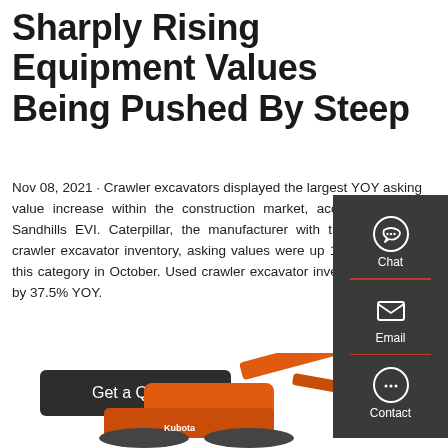Sharply Rising Equipment Values Being Pushed By Steep
Nov 08, 2021 · Crawler excavators displayed the largest YOY asking value increase within the construction market, according to the Sandhills EVI. Caterpillar, the manufacturer with the most used crawler excavator inventory, asking values were up 11.3% YOY for this category in October. Used crawler excavator inventory dropped by 37.5% YOY.
[Figure (screenshot): Side panel with Chat, Email, and Contact icons on dark grey background with red accent]
[Figure (photo): Orange Kubota excavator machine partially visible at bottom of page]